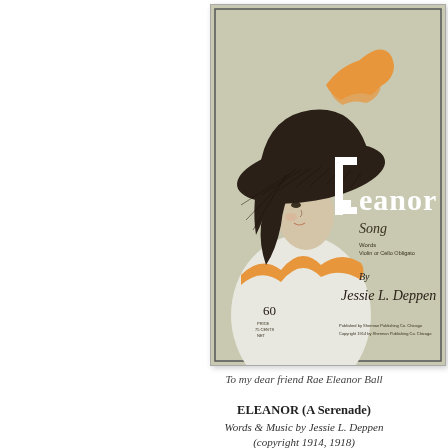[Figure (illustration): Sheet music cover for 'Eleanor Song' by Jessie L. Deppen. Shows a woman wearing a large dark hat with orange feathers, a white low-cut dress with orange ruffle trim. The title 'Eleanor' is displayed in large decorative letters. Text reads 'Song', 'Words', 'Violin or Cello Obligato', 'By Jessie L. Deppen', price '60', and publisher information at the bottom.]
To my dear friend Rae Eleanor Ball
ELEANOR (A Serenade)
Words & Music by Jessie L. Deppen
(copyright 1914, 1918)